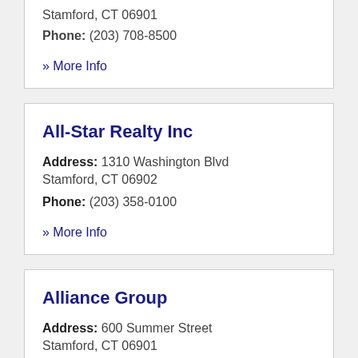Stamford, CT 06901
Phone: (203) 708-8500
» More Info
All-Star Realty Inc
Address: 1310 Washington Blvd
Stamford, CT 06902
Phone: (203) 358-0100
» More Info
Alliance Group
Address: 600 Summer Street
Stamford, CT 06901
Phone: (203) 359-4363